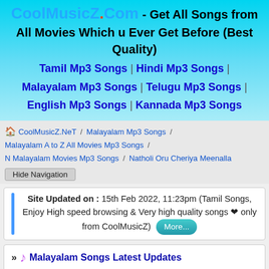CoolMusicZ.Com - Get All Songs from All Movies Which u Ever Get Before (Best Quality) Tamil Mp3 Songs | Hindi Mp3 Songs | Malayalam Mp3 Songs | Telugu Mp3 Songs | English Mp3 Songs | Kannada Mp3 Songs
CoolMusicZ.NeT / Malayalam Mp3 Songs / Malayalam A to Z All Movies Mp3 Songs / N Malayalam Movies Mp3 Songs / Natholi Oru Cheriya Meenalla
Hide Navigation
Site Updated on : 15th Feb 2022, 11:23pm (Tamil Songs, Enjoy High speed browsing & Very high quality songs ♥ only from CoolMusicZ) More...
» Malayalam Songs Latest Updates
(Malayalam A to Z) updated on 06-04-21 (1 year ago)
♪ » Chotta Mur